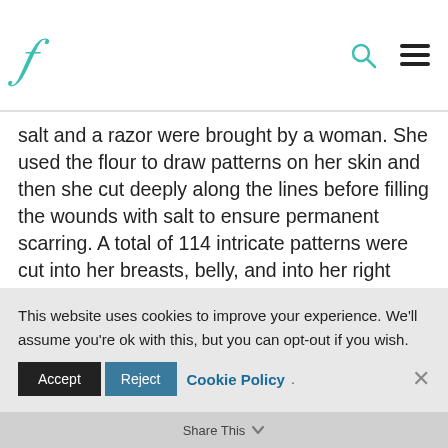F [logo] [search icon] [hamburger menu]
salt and a razor were brought by a woman. She used the flour to draw patterns on her skin and then she cut deeply along the lines before filling the wounds with salt to ensure permanent scarring. A total of 114 intricate patterns were cut into her breasts, belly, and into her right arm.[10][11]
Conversion and freedom
This website uses cookies to improve your experience. We'll assume you're ok with this, but you can opt-out if you wish.
Accept  Reject  Cookie Policy  ×  Share This